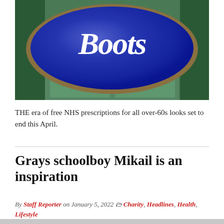[Figure (photo): Boots pharmacy store sign — large blue oval logo with white script text reading 'Boots', mounted above a glass shopfront with green architectural elements visible in the background.]
THE era of free NHS prescriptions for all over-60s looks set to end this April.
Grays schoolboy Mikail is an inspiration
By Staff Reporter on January 5, 2022 | Charity, Headlines, Health, Lifestyle
[Figure (photo): Partial view of a person, cropped at bottom of page.]